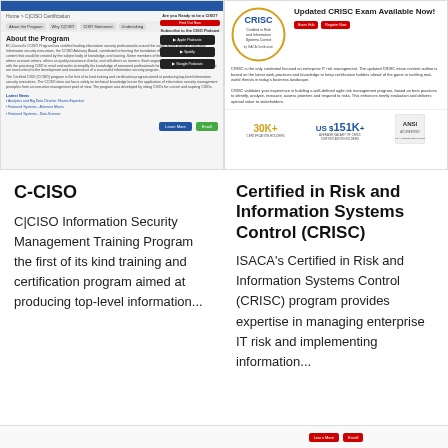[Figure (screenshot): C-CISO certification program webpage screenshot showing header, navigation tabs, About the Program section, podcast subscription sidebar, and Latest News links]
[Figure (screenshot): CRISC certification webpage screenshot showing CRISC logo, 'Updated CRISC Exam Available Now!' heading, description text, and stats: 30K+ certification holders, US$151K+ average salary, ANSI accreditation logo]
C-CISO
C|CISO Information Security Management Training Program the first of its kind training and certification program aimed at producing top-level information...
Certified in Risk and Information Systems Control (CRISC)
ISACA's Certified in Risk and Information Systems Control (CRISC) program provides expertise in managing enterprise IT risk and implementing information...